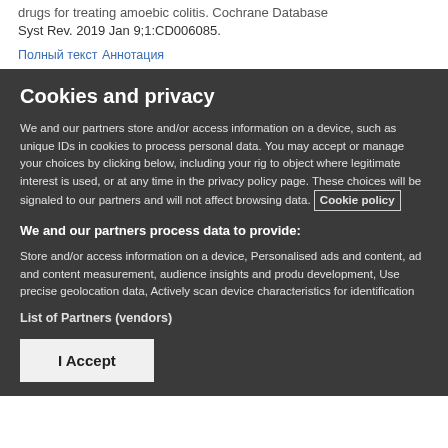Syst Rev. 2019 Jan 9;1:CD006085.
Полный текст  Аннотация
Cookies and privacy
We and our partners store and/or access information on a device, such as unique IDs in cookies to process personal data. You may accept or manage your choices by clicking below, including your rig to object where legitimate interest is used, or at any time in the privacy policy page. These choices will be signaled to our partners and will not affect browsing data. Cookie policy
We and our partners process data to provide:
Store and/or access information on a device, Personalised ads and content, ad and content measurement, audience insights and produ development, Use precise geolocation data, Actively scan device characteristics for identification
List of Partners (vendors)
I Accept